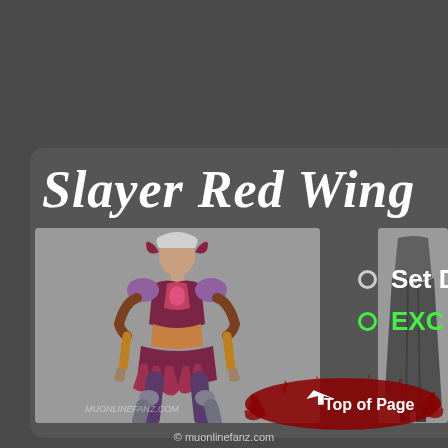Slayer Red Wing
Set DEF: +24
EXC DEF: +86
[Figure (illustration): Female fantasy armor character (Slayer Red Wing set) standing pose, wearing red and purple armor with wing decorations, silver hair, on gray background. Watermark: MUONLINEFANZ.COM]
[Figure (illustration): Partial view of another character on right edge, dark cloak/outfit, gray background. Watermark: MUON...]
[Figure (other): Red blood splatter graphic with upward arrow and 'Top of Page' text button]
© muonlinefanz.com